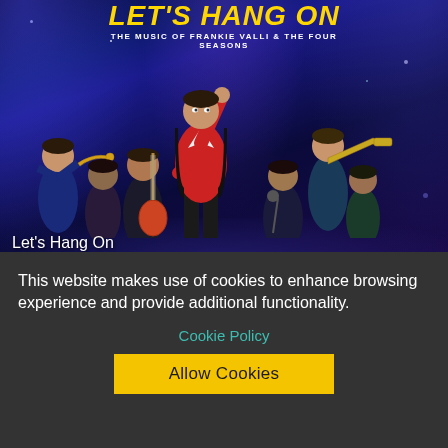[Figure (photo): Promotional poster/photo for 'Let's Hang On – The Music of Frankie Valli & The Four Seasons'. Shows a group of performers on stage with blue and purple spotlights. A lead performer in a red jacket stands center-front with one arm raised. Other musicians surround him including horn players and a guitarist. The title 'LET'S HANG ON' appears in large yellow italic text at the top, with subtitle 'THE MUSIC OF FRANKIE VALLI & THE FOUR SEASONS'.]
Let's Hang On
This website makes use of cookies to enhance browsing experience and provide additional functionality.
Cookie Policy
Allow Cookies